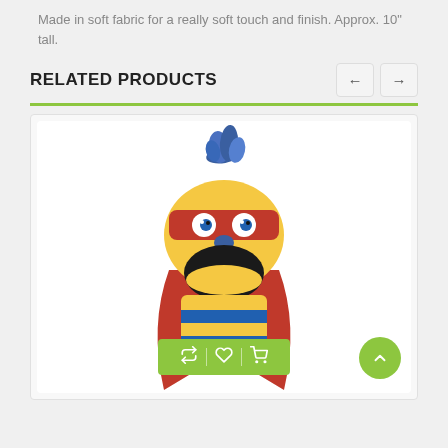Made in soft fabric for a really soft touch and finish. Approx. 10" tall.
RELATED PRODUCTS
[Figure (photo): A colorful superhero sock puppet toy with blue hair/mohawk, red mask, yellow face, open mouth with red tongue, red cape, and blue/yellow striped body. Below the puppet are three action icons (repeat, heart, cart) on a green bar.]